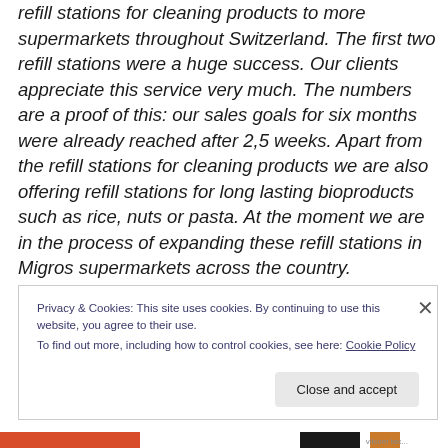refill stations for cleaning products to more supermarkets throughout Switzerland. The first two refill stations were a huge success. Our clients appreciate this service very much. The numbers are a proof of this: our sales goals for six months were already reached after 2,5 weeks. Apart from the refill stations for cleaning products we are also offering refill stations for long lasting bioproducts such as rice, nuts or pasta. At the moment we are in the process of expanding these refill stations in Migros supermarkets across the country.
Privacy & Cookies: This site uses cookies. By continuing to use this website, you agree to their use. To find out more, including how to control cookies, see here: Cookie Policy